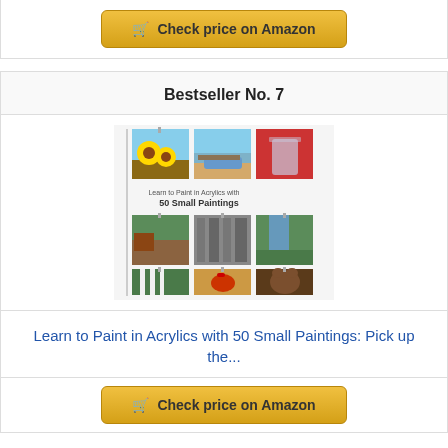[Figure (other): Check price on Amazon button with shopping cart icon, gold/yellow gradient button]
Bestseller No. 7
[Figure (photo): Book cover of 'Learn to Paint in Acrylics with 50 Small Paintings' showing a collage of 9 small paintings including sunflowers, a boat, a jar, landscapes, a rooster, and a bear cub]
Learn to Paint in Acrylics with 50 Small Paintings: Pick up the...
[Figure (other): Check price on Amazon button (partially visible at bottom)]